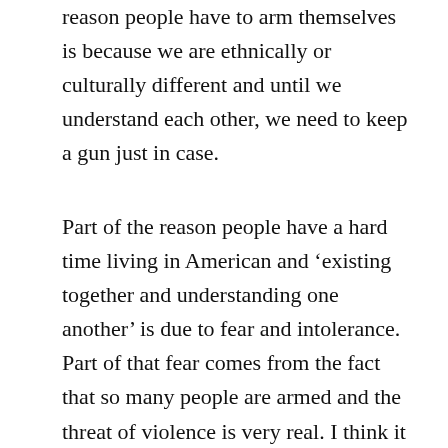reason people have to arm themselves is because we are ethnically or culturally different and until we understand each other, we need to keep a gun just in case.
Part of the reason people have a hard time living in American and ‘existing together and understanding one another’ is due to fear and intolerance. Part of that fear comes from the fact that so many people are armed and the threat of violence is very real. I think it would be easier for people to understand one another and get along if they were force to put the guns